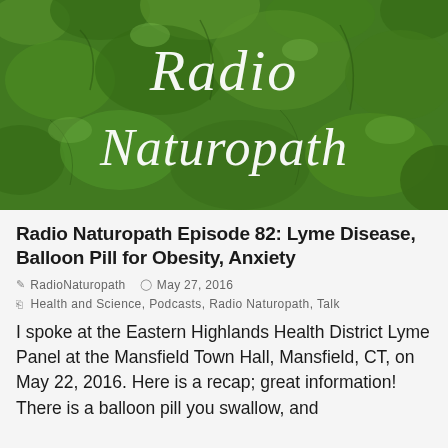[Figure (photo): Green kale leaves close-up background image with white cursive text 'Radio Naturopath' overlaid in the center]
Radio Naturopath Episode 82: Lyme Disease, Balloon Pill for Obesity, Anxiety
RadioNaturopath  May 27, 2016
Health and Science, Podcasts, Radio Naturopath, Talk
I spoke at the Eastern Highlands Health District Lyme Panel at the Mansfield Town Hall, Mansfield, CT, on May 22, 2016. Here is a recap; great information! There is a balloon pill you swallow, and